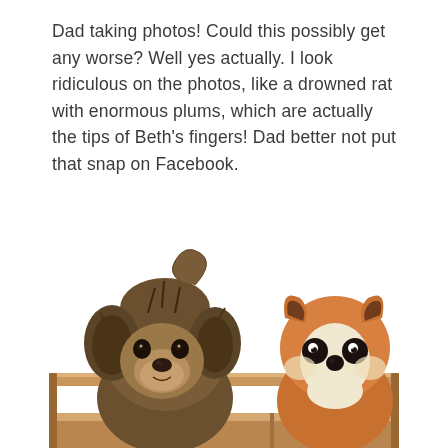Dad taking photos!  Could this possibly get any worse?  Well yes actually.  I look ridiculous on the photos, like a drowned rat with enormous plums, which are actually the tips of Beth's fingers!  Dad better not put that snap on Facebook.
[Figure (photo): A small fluffy puppy (Shih Tzu or similar breed) sitting in a wooden crate/box next to an orange fox stuffed animal toy. The puppy has brown and black fur and is peeking over the edge of the crate. The background is white.]